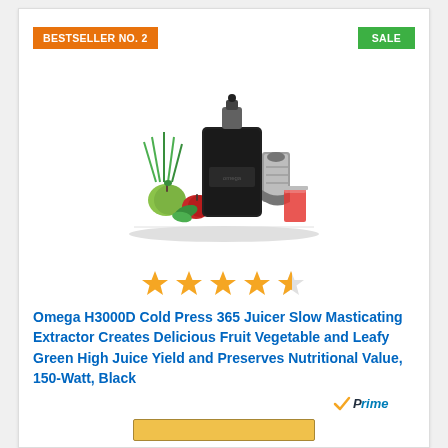BESTSELLER NO. 2
SALE
[Figure (photo): Omega H3000D Cold Press juicer machine shown in black with vegetables and a glass of red juice beside it]
[Figure (other): 4.5 out of 5 stars rating shown as yellow star icons]
Omega H3000D Cold Press 365 Juicer Slow Masticating Extractor Creates Delicious Fruit Vegetable and Leafy Green High Juice Yield and Preserves Nutritional Value, 150-Watt, Black
[Figure (logo): Amazon Prime logo with checkmark]